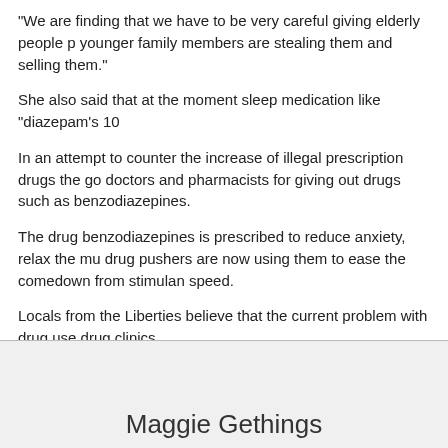“We are finding that we have to be very careful giving elderly people p… younger family members are stealing them and selling them.”
She also said that at the moment sleep medication like “diazepam’s 10…
In an attempt to counter the increase of illegal prescription drugs the go… doctors and pharmacists for giving out drugs such as benzodiazepines…
The drug benzodiazepines is prescribed to reduce anxiety, relax the mu… drug pushers are now using them to ease the comedown from stimulan… speed.
Locals from the Liberties believe that the current problem with drug use… drug clinics.
They state that these services do not have the necessary funding to re… the numbers of people who are seeking help.
Photo courtesy of Morguefile/Ronnieb
Maggie Gethings